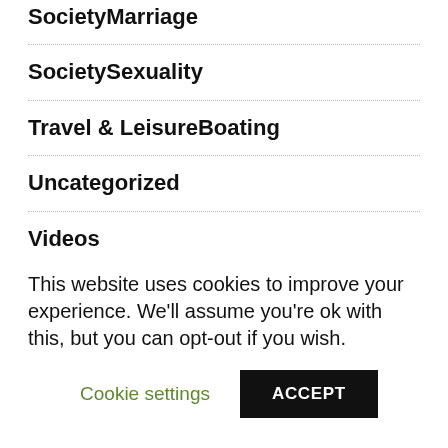SocietyMarriage
SocietySexuality
Travel & LeisureBoating
Uncategorized
Videos
W88
WIKI
Writing & SpeakingWriting
This website uses cookies to improve your experience. We'll assume you're ok with this, but you can opt-out if you wish.
Cookie settings
ACCEPT